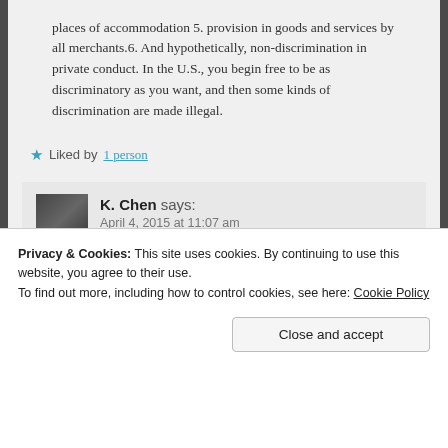places of accommodation 5. provision in goods and services by all merchants.6. And hypothetically, non-discrimination in private conduct. In the U.S., you begin free to be as discriminatory as you want, and then some kinds of discrimination are made illegal.
Liked by 1 person
K. Chen says: April 4, 2015 at 11:07 am
Said substantive response.
Like
Privacy & Cookies: This site uses cookies. By continuing to use this website, you agree to their use.
To find out more, including how to control cookies, see here: Cookie Policy
Close and accept